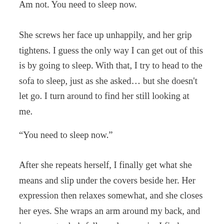Am not. You need to sleep now.
She screws her face up unhappily, and her grip tightens. I guess the only way I can get out of this is by going to sleep. With that, I try to head to the sofa to sleep, just as she asked… but she doesn't let go. I turn around to find her still looking at me.
“You need to sleep now.”
After she repeats herself, I finally get what she means and slip under the covers beside her. Her expression then relaxes somewhat, and she closes her eyes. She wraps an arm around my back, and in moments she’s fallen asleep again. I find myself caught between comfort and discomfort, unable to really calm down. After looking at her sleeping